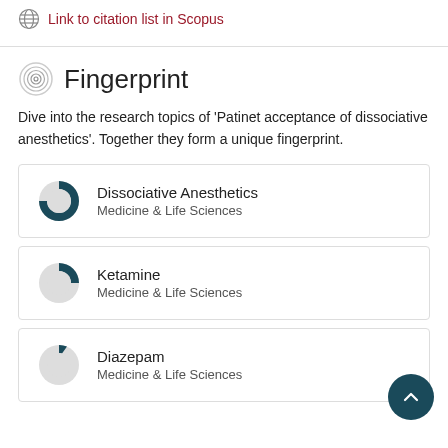Link to citation list in Scopus
Fingerprint
Dive into the research topics of 'Patinet acceptance of dissociative anesthetics'. Together they form a unique fingerprint.
Dissociative Anesthetics
Medicine & Life Sciences
Ketamine
Medicine & Life Sciences
Diazepam
Medicine & Life Sciences